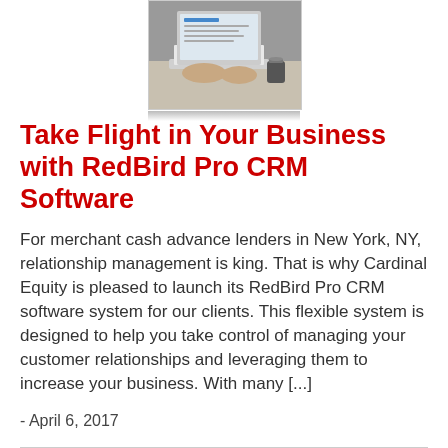[Figure (photo): Person using a laptop computer, viewed from above/side angle. A coffee cup is visible nearby.]
Take Flight in Your Business with RedBird Pro CRM Software
For merchant cash advance lenders in New York, NY, relationship management is king. That is why Cardinal Equity is pleased to launch its RedBird Pro CRM software system for our clients. This flexible system is designed to help you take control of managing your customer relationships and leveraging them to increase your business. With many [...]
- April 6, 2017